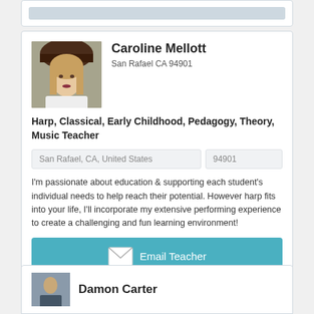[Figure (photo): Profile photo of Caroline Mellott, a young woman wearing a dark hat, with long hair, smiling]
Caroline Mellott
San Rafael CA 94901
Harp, Classical, Early Childhood, Pedagogy, Theory, Music Teacher
San Rafael, CA, United States
94901
I'm passionate about education & supporting each student's individual needs to help reach their potential. However harp fits into your life, I'll incorporate my extensive performing experience to create a challenging and fun learning environment!
Email Teacher
Leave Review
Damon Carter